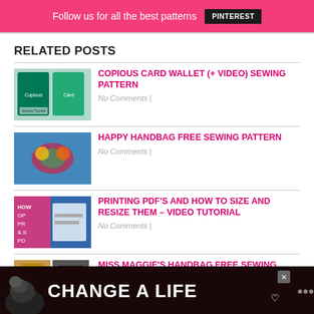Follow us for all the best patterns PINTEREST
RELATED POSTS
COPIOUS CARD WALLET (+ VIDEO) SEWING PATTERN
No Comments |
HAPPY HANDBAG FREE SEWING PATTERN
No Comments |
PRINTING PDF'S AND HOW TO SIZE AND RESIZE THEM – VIDEO TUTORIAL
No Comments |
MISS MAGGIE'S HANDBAG FREE SEWING PATTERN
No Comments |
[Figure (infographic): Advertisement banner showing a dog and text CHANGE A LIFE]